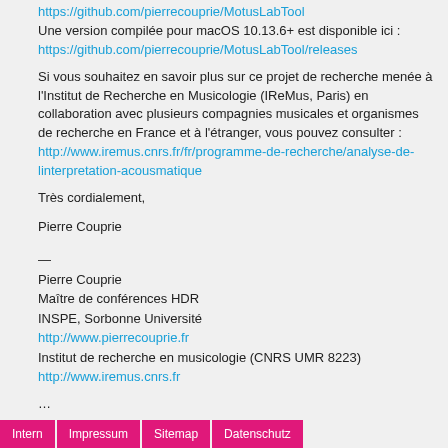https://github.com/pierrecouprie/MotusLabTool
Une version compilée pour macOS 10.13.6+ est disponible ici :
https://github.com/pierrecouprie/MotusLabTool/releases
Si vous souhaitez en savoir plus sur ce projet de recherche menée à l'Institut de Recherche en Musicologie (IReMus, Paris) en collaboration avec plusieurs compagnies musicales et organismes de recherche en France et à l'étranger, vous pouvez consulter :
http://www.iremus.cnrs.fr/fr/programme-de-recherche/analyse-de-linterpretation-acousmatique
Très cordialement,
Pierre Couprie
—
Pierre Couprie
Maître de conférences HDR
INSPE, Sorbonne Université
http://www.pierrecouprie.fr
Institut de recherche en musicologie (CNRS UMR 8223)
http://www.iremus.cnrs.fr
...
Intern | Impressum | Sitemap | Datenschutz